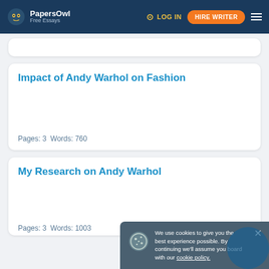PapersOwl Free Essays | LOG IN | HIRE WRITER
Impact of Andy Warhol on Fashion
Pages: 3  Words: 760
My Research on Andy Warhol
Pages: 3  Words: 1003
We use cookies to give you the best experience possible. By continuing we'll assume you board with our cookie policy.